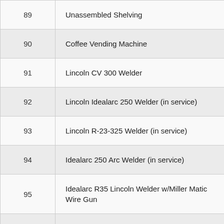| Number | Description |
| --- | --- |
| 89 | Unassembled Shelving |
| 90 | Coffee Vending Machine |
| 91 | Lincoln CV 300 Welder |
| 92 | Lincoln Idealarc 250 Welder (in service) |
| 93 | Lincoln R-23-325 Welder (in service) |
| 94 | Idealarc 250 Arc Welder (in service) |
| 95 | Idealarc R35 Lincoln Welder w/Miller Matic Wire Gun |
| 96 | Idealarc TM 500/500 Arc Welder |
| 97 |  |